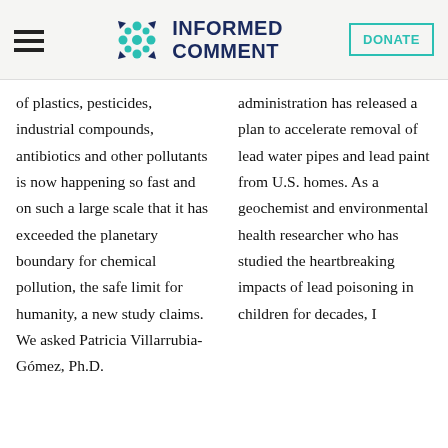INFORMED COMMENT
of plastics, pesticides, industrial compounds, antibiotics and other pollutants is now happening so fast and on such a large scale that it has exceeded the planetary boundary for chemical pollution, the safe limit for humanity, a new study claims. We asked Patricia Villarrubia-Gómez, Ph.D.
administration has released a plan to accelerate removal of lead water pipes and lead paint from U.S. homes. As a geochemist and environmental health researcher who has studied the heartbreaking impacts of lead poisoning in children for decades, I